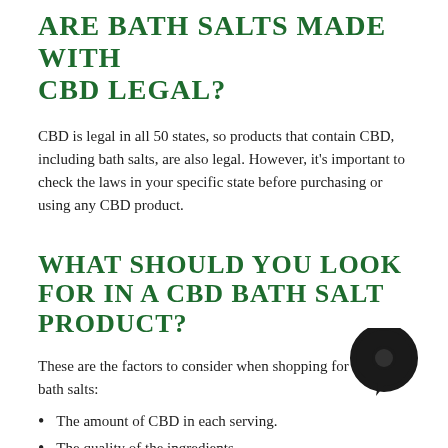ARE BATH SALTS MADE WITH CBD LEGAL?
CBD is legal in all 50 states, so products that contain CBD, including bath salts, are also legal. However, it's important to check the laws in your specific state before purchasing or using any CBD product.
WHAT SHOULD YOU LOOK FOR IN A CBD BATH SALT PRODUCT?
These are the factors to consider when shopping for CBD bath salts:
The amount of CBD in each serving.
The quality of the ingredients.
The scent.
[Figure (illustration): A dark circular chat bubble icon in the bottom right corner of the page.]